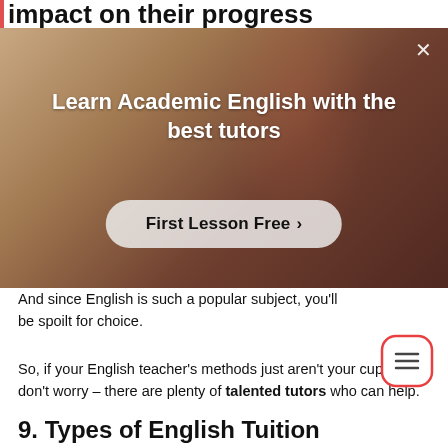impact on their progress
[Figure (screenshot): Advertisement popup overlay showing a person in a classroom with text 'Learn Academic English with the best tutors' and a 'First Lesson Free >' button. An X close button is in the top right corner.]
And since English is such a popular subject, you'll be spoilt for choice.
So, if your English teacher's methods just aren't your cup of tea, don't worry – there are plenty of talented tutors who can help.
9. Types of English Tuition